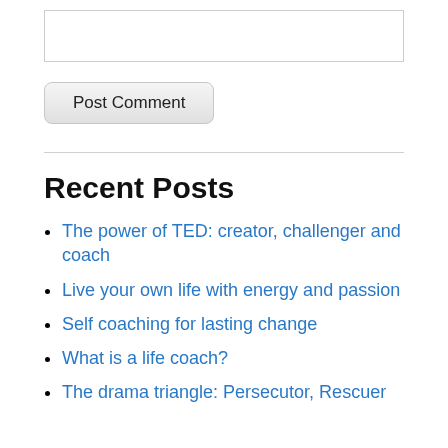[Figure (other): Text input box for comment entry]
Post Comment
Recent Posts
The power of TED: creator, challenger and coach
Live your own life with energy and passion
Self coaching for lasting change
What is a life coach?
The drama triangle: Persecutor, Rescuer